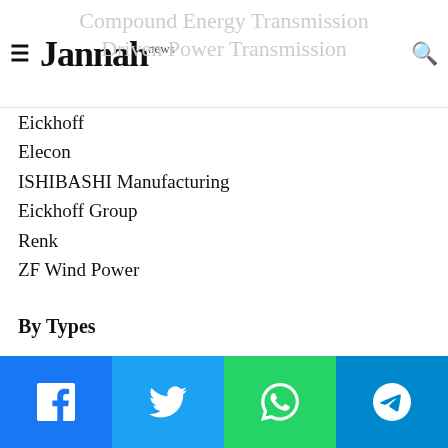Jannah news
Eickhoff
Elecon
ISHIBASHI Manufacturing
Eickhoff Group
Renk
ZF Wind Power
By Types
1.5 MW-3 MW
3 MW
By Applications
Facebook | Twitter | WhatsApp | Telegram